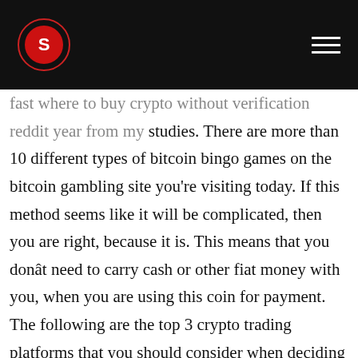[Logo] [Navigation menu icon]
fast where to buy crypto without verification reddit year from my studies. There are more than 10 different types of bitcoin bingo games on the bitcoin gambling site you're visiting today. If this method seems like it will be complicated, then you are right, because it is. This means that you donât need to carry cash or other fiat money with you, when you are using this coin for payment. The following are the top 3 crypto trading platforms that you should consider when deciding which one to use for yourself. What about for instance if someone found the double spend address for a specific bitcoin, then used that bitcoin in order to double their own bitcoin. How much does ebay charge to sell a baseball card to a collector? Bitcoin is a cryptocurrency that allows online payments to be sent directly to each other without a middleman. You'll be happy to know that we also offer some tips to make the process of